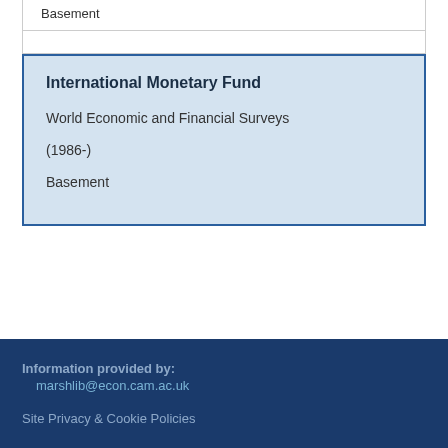Basement
| International Monetary Fund |  |  |
| World Economic and Financial Surveys |  |  |
| (1986-) |  |  |
| Basement |  |  |
Information provided by:
  marshlib@econ.cam.ac.uk

Site Privacy & Cookie Policies